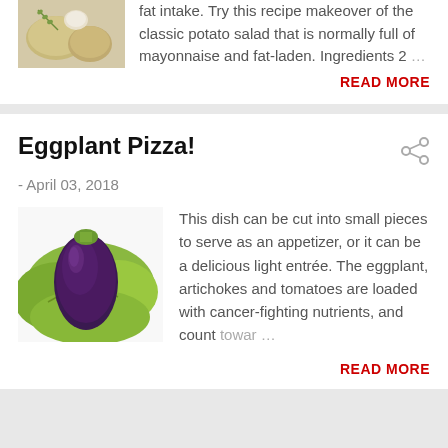[Figure (photo): Potatoes and garlic image, partially visible at top of page]
fat intake. Try this recipe makeover of the classic potato salad that is normally full of mayonnaise and fat-laden. Ingredients 2 …
READ MORE
Eggplant Pizza!
- April 03, 2018
[Figure (photo): Eggplant with green leaves on white background]
This dish can be cut into small pieces to serve as an appetizer, or it can be a delicious light entrée. The eggplant, artichokes and tomatoes are loaded with cancer-fighting nutrients, and count towar …
READ MORE